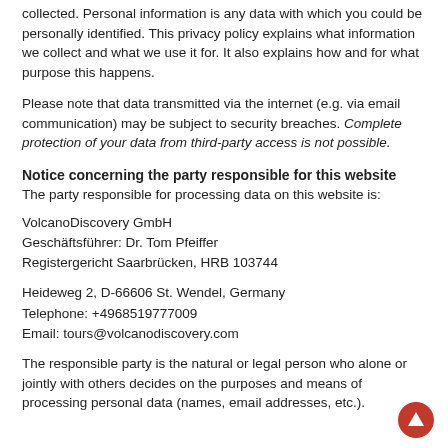collected. Personal information is any data with which you could be personally identified. This privacy policy explains what information we collect and what we use it for. It also explains how and for what purpose this happens.
Please note that data transmitted via the internet (e.g. via email communication) may be subject to security breaches. Complete protection of your data from third-party access is not possible.
Notice concerning the party responsible for this website
The party responsible for processing data on this website is:
VolcanoDiscovery GmbH
Geschäftsführer: Dr. Tom Pfeiffer
Registergericht Saarbrücken, HRB 103744
Heideweg 2, D-66606 St. Wendel, Germany
Telephone: +4968519777009
Email: tours@volcanodiscovery.com
The responsible party is the natural or legal person who alone or jointly with others decides on the purposes and means of processing personal data (names, email addresses, etc.).